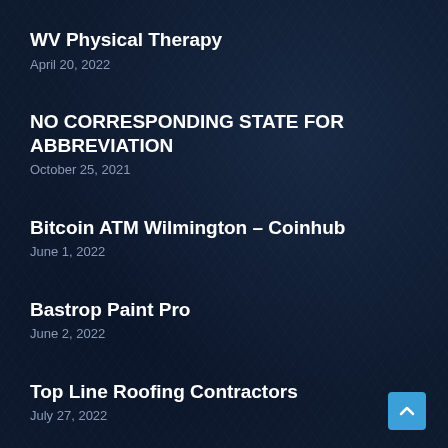WV Physical Therapy
April 20, 2022
NO CORRESPONDING STATE FOR ABBREVIATION
October 25, 2021
Bitcoin ATM Wilmington – Coinhub
June 1, 2022
Bastrop Paint Pro
June 2, 2022
Top Line Roofing Contractors
July 27, 2022